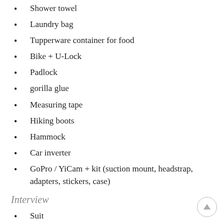Shower towel
Laundry bag
Tupperware container for food
Bike + U-Lock
Padlock
gorilla glue
Measuring tape
Hiking boots
Hammock
Car inverter
GoPro / YiCam + kit (suction mount, headstrap, adapters, stickers, case)
Interview
Suit
Dress Shoes + socks*days
Undershirt(s)
Interview Folder
Hot Climate
Sunglasses